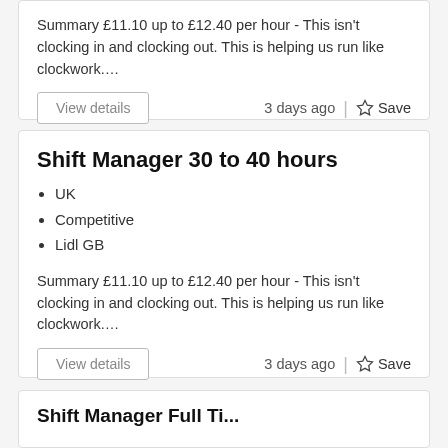Summary £11.10 up to £12.40 per hour - This isn't clocking in and clocking out. This is helping us run like clockwork....
View details
3 days ago  |  ☆ Save
Shift Manager 30 to 40 hours
UK
Competitive
Lidl GB
Summary £11.10 up to £12.40 per hour - This isn't clocking in and clocking out. This is helping us run like clockwork....
View details
3 days ago  |  ☆ Save
Shift Manager Full Ti...